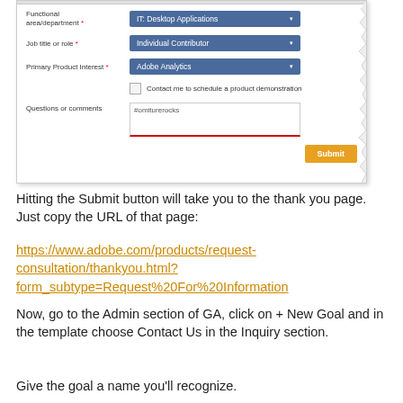[Figure (screenshot): Screenshot of a web form showing fields: Functional area/department (IT: Desktop Applications), Job title or role (Individual Contributor), Primary Product Interest (Adobe Analytics), a checkbox for 'Contact me to schedule a product demonstration', a Questions or comments textarea with '#omiturerocks', and a Submit button.]
Hitting the Submit button will take you to the thank you page. Just copy the URL of that page:
https://www.adobe.com/products/request-consultation/thankyou.html?form_subtype=Request%20For%20Information
Now, go to the Admin section of GA, click on + New Goal and in the template choose Contact Us in the Inquiry section.
Give the goal a name you'll recognize.